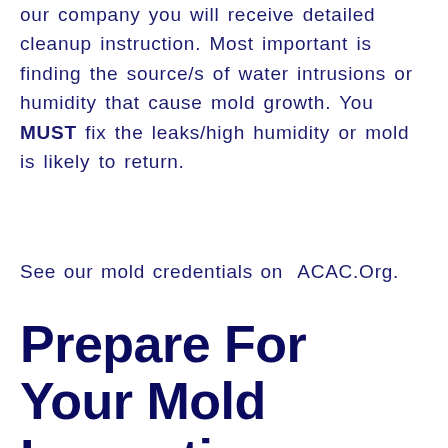our company you will receive detailed cleanup instruction. Most important is finding the source/s of water intrusions or humidity that cause mold growth. You MUST fix the leaks/high humidity or mold is likely to return.
See our mold credentials on ACAC.Org.
Prepare For Your Mold Inspection